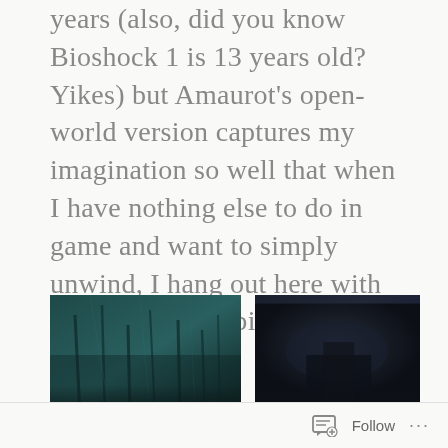years (also, did you know Bioshock 1 is 13 years old? Yikes) but Amaurot's open-world version captures my imagination so well that when I have nothing else to do in game and want to simply unwind, I hang out here with the music on, vibing (as the kids say).
[Figure (photo): Dark teal underwater/forest scene with tall structures or vegetation]
[Figure (photo): Very dark blue-grey scene with indistinct shapes]
FFXIV has tried this before with Heavensward's Azys Lla, a zone that has an interesting tech-futuristic aesthetic
Follow ···